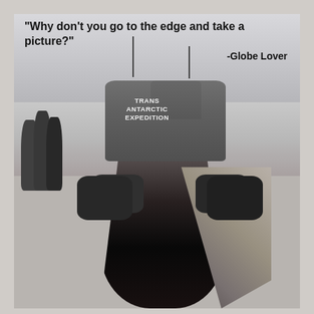[Figure (photo): Black and white photograph of a Trans Antarctic Expedition tracked vehicle (Tucker Sno-Cat) straddling a deep crevasse in Antarctic snow/ice. Several people stand to the left. The vehicle bears the text 'TRANS ANTARCTIC EXPEDITION' on its side. A quote is overlaid at the top: '"Why don't you go to the edge and take a picture?" -Globe Lover']
"Why don't you go to the edge and take a picture?"
-Globe Lover